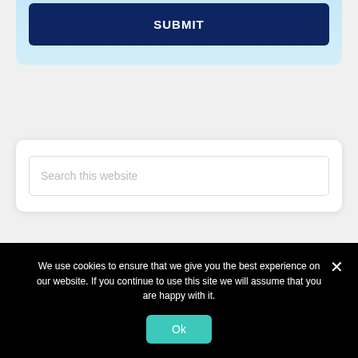[Figure (screenshot): Top portion of a light blue card with a dark navy SUBMIT button visible at top]
[Figure (screenshot): Search box with placeholder text 'Search this website' inside a white card]
RECENT NEWS & UPDATES
What Do Boat Surveyors Look For?
We use cookies to ensure that we give you the best experience on our website. If you continue to use this site we will assume that you are happy with it.